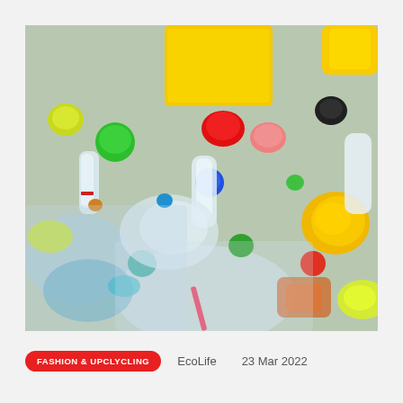[Figure (photo): Close-up photograph of a large pile of crushed and mixed plastic waste including bottles, caps, containers, bags and packaging in various colors — yellow, red, green, blue, white, clear, and orange.]
FASHION & UPCLYCLING
EcoLife   23 Mar 2022